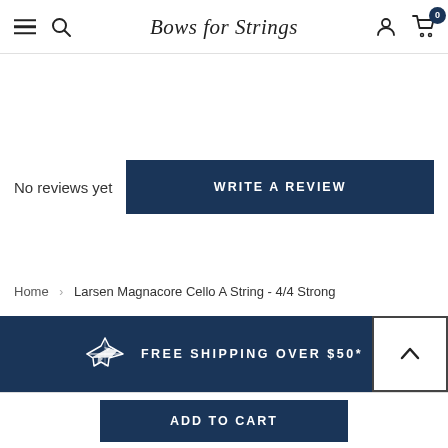Bows for Strings — navigation header with menu, search, logo, account, and cart (0 items)
No reviews yet
WRITE A REVIEW
Home > Larsen Magnacore Cello A String - 4/4 Strong
FREE SHIPPING OVER $50*
ADD TO CART